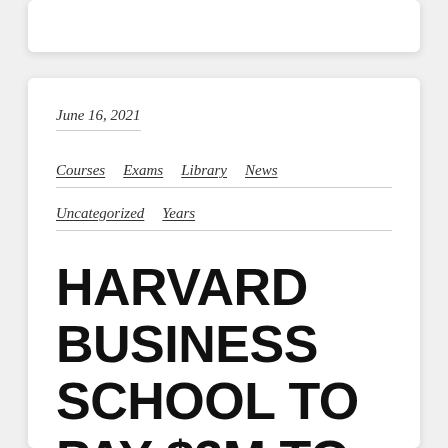June 16, 2021
Courses
Exams
Library
News
Uncategorized
Years
HARVARD BUSINESS SCHOOL TO PAY $3M TO